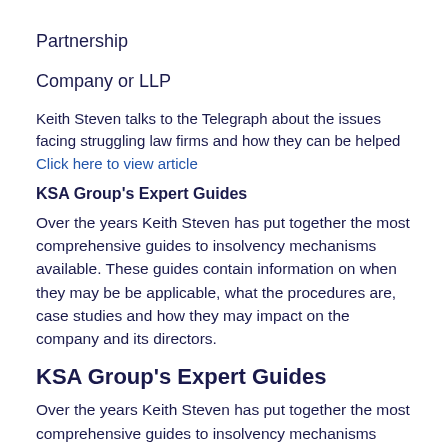Partnership
Company or LLP
Keith Steven talks to the Telegraph about the issues facing struggling law firms and how they can be helped
Click here to view article
KSA Group's Expert Guides
Over the years Keith Steven has put together the most comprehensive guides to insolvency mechanisms available. These guides contain information on when they may be be applicable, what the procedures are, case studies and how they may impact on the company and its directors.
KSA Group's Expert Guides
Over the years Keith Steven has put together the most comprehensive guides to insolvency mechanisms available. These guides contain information on when they may be be applicable, what the procedures are, case studies and how